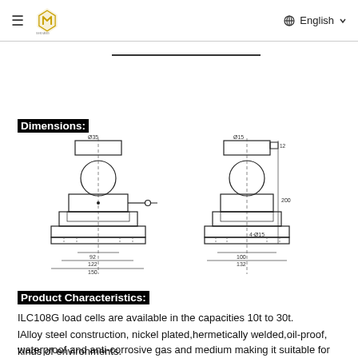≡  [logo]  English ∨
Dimensions:
[Figure (engineering-diagram): Two orthographic views (front and side) of the ILC108G load cell showing cylindrical ball-and-socket style sensor with mounting base plate. Dimension annotations include Ø35, 200, 4×Ø15, 100, 132, 150, 92, 122, 150 (mm).]
Product Characteristics:
ILC108G load cells are available in the capacities 10t to 30t.
lAlloy steel construction, nickel plated,hermetically welded,oil-proof, waterproof and anti-corrosive gas and medium making it suitable for all kinds of environments.